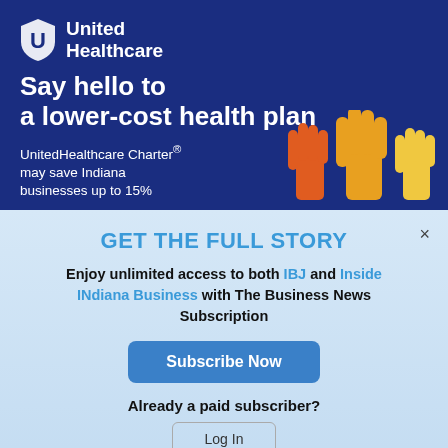[Figure (logo): United Healthcare logo with shield icon and white text on dark blue background]
Say hello to a lower-cost health plan
UnitedHealthcare Charter® may save Indiana businesses up to 15%
[Figure (illustration): Three colorful raised hands (orange, gold, yellow) illustration]
GET THE FULL STORY
Enjoy unlimited access to both IBJ and Inside INdiana Business with The Business News Subscription
Subscribe Now
Already a paid subscriber?
Log In